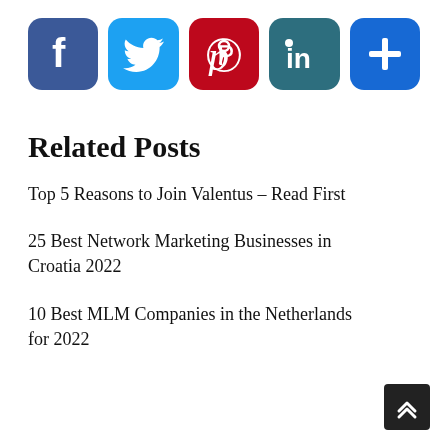[Figure (illustration): Row of five social media share buttons: Facebook (blue), Twitter (light blue), Pinterest (red), LinkedIn (teal), and a plus/more button (blue)]
Related Posts
Top 5 Reasons to Join Valentus – Read First
25 Best Network Marketing Businesses in Croatia 2022
10 Best MLM Companies in the Netherlands for 2022